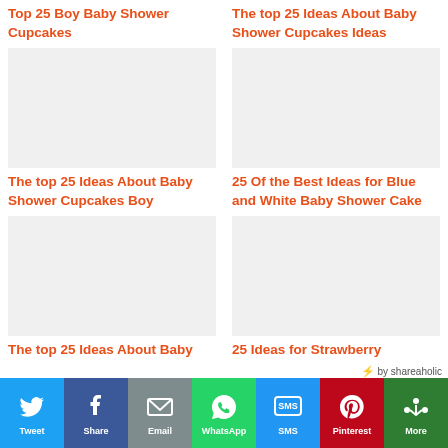Top 25 Boy Baby Shower Cupcakes
[Figure (photo): Baby shower cupcakes image placeholder]
The top 25 Ideas About Baby Shower Cupcakes Ideas
[Figure (photo): Baby shower cupcakes ideas image placeholder]
The top 25 Ideas About Baby Shower Cupcakes Boy
[Figure (photo): Baby shower cupcakes boy image placeholder]
25 Of the Best Ideas for Blue and White Baby Shower Cake
[Figure (photo): Blue and white baby shower cake image placeholder]
The top 25 Ideas About Baby Shower Dessert Table
[Figure (photo): Baby shower dessert table image placeholder]
25 Ideas for Strawberry Shortcake Baby Shower theme
[Figure (photo): Strawberry shortcake baby shower image placeholder]
by shareaholic